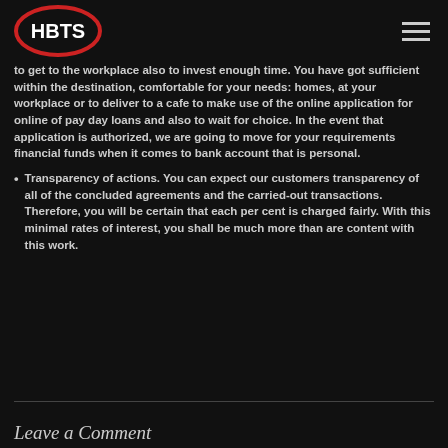HBTS
to get to the workplace also to invest enough time. You have got sufficient within the destination, comfortable for your needs: homes, at your workplace or to deliver to a cafe to make use of the online application for online of pay day loans and also to wait for choice. In the event that application is authorized, we are going to move for your requirements financial funds when it comes to bank account that is personal.
Transparency of actions. You can expect our customers transparency of all of the concluded agreements and the carried-out transactions. Therefore, you will be certain that each per cent is charged fairly. With this minimal rates of interest, you shall be much more than are content with this work.
Leave a Comment